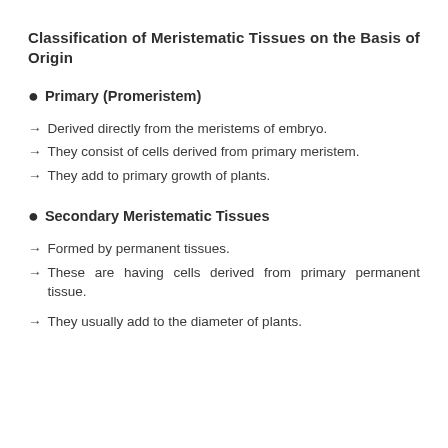Classification of Meristematic Tissues on the Basis of Origin
Primary (Promeristem)
→ Derived directly from the meristems of embryo.
→ They consist of cells derived from primary meristem.
→ They add to primary growth of plants.
Secondary Meristematic Tissues
→ Formed by permanent tissues.
→ These are having cells derived from primary permanent tissue.
→ They usually add to the diameter of plants.